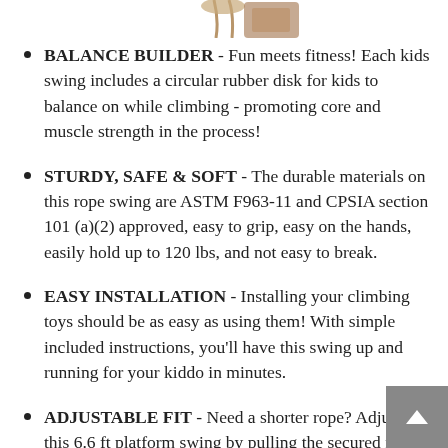[Figure (photo): Partial product image visible at top of page — a swing or rope toy, cropped]
BALANCE BUILDER - Fun meets fitness! Each kids swing includes a circular rubber disk for kids to balance on while climbing - promoting core and muscle strength in the process!
STURDY, SAFE & SOFT - The durable materials on this rope swing are ASTM F963-11 and CPSIA section 101 (a)(2) approved, easy to grip, easy on the hands, easily hold up to 120 lbs, and not easy to break.
EASY INSTALLATION - Installing your climbing toys should be as easy as using them! With simple included instructions, you'll have this swing up and running for your kiddo in minutes.
ADJUSTABLE FIT - Need a shorter rope? Adjust this 6.6 ft platform swing by pulling the secured rope underneath the disk and tying a knot. Need it longer? Simply attach the